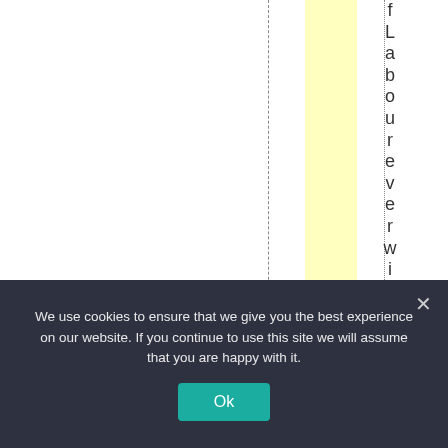[Figure (other): Page layout with a dashed vertical line, a yellow highlighted column, a dotted vertical line, and vertical text reading 'fLabourever winspo w' running top to bottom]
We use cookies to ensure that we give you the best experience on our website. If you continue to use this site we will assume that you are happy with it.